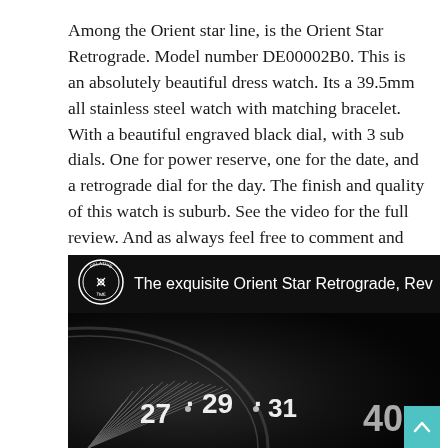Among the Orient star line, is the Orient Star Retrograde. Model number DE00002B0. This is an absolutely beautiful dress watch. Its a 39.5mm all stainless steel watch with matching bracelet. With a beautiful engraved black dial, with 3 sub dials. One for power reserve, one for the date, and a retrograde dial for the day. The finish and quality of this watch is suburb. See the video for the full review. And as always feel free to comment and subscribe at youtube.
[Figure (screenshot): Video thumbnail showing 'The exquisite Orient Star Retrograde, Rev' with a circular logo for 'Relative Time' on the left, and below it a close-up photo of a watch dial showing numbers 27, 29, 31 and partial 40, with tick marks visible. A teal scroll-up button appears in the bottom right corner.]